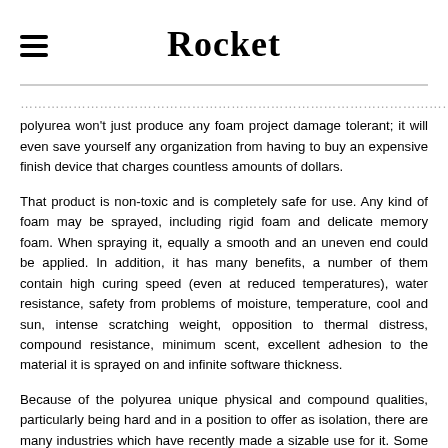Rocket
polyurea won't just produce any foam project damage tolerant; it will even save yourself any organization from having to buy an expensive finish device that charges countless amounts of dollars.
That product is non-toxic and is completely safe for use. Any kind of foam may be sprayed, including rigid foam and delicate memory foam. When spraying it, equally a smooth and an uneven end could be applied. In addition, it has many benefits, a number of them contain high curing speed (even at reduced temperatures), water resistance, safety from problems of moisture, temperature, cool and sun, intense scratching weight, opposition to thermal distress, compound resistance, minimum scent, excellent adhesion to the material it is sprayed on and infinite software thickness.
Because of the polyurea unique physical and compound qualities, particularly being hard and in a position to offer as isolation, there are many industries which have recently made a sizable use for it. Some of them range from the concrete industry, floor, roofing, bedliners, tunnels,